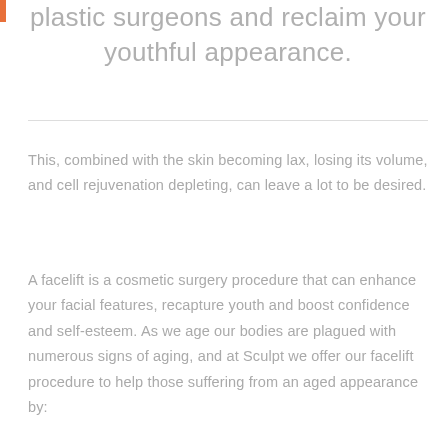plastic surgeons and reclaim your youthful appearance.
This, combined with the skin becoming lax, losing its volume, and cell rejuvenation depleting, can leave a lot to be desired.
A facelift is a cosmetic surgery procedure that can enhance your facial features, recapture youth and boost confidence and self-esteem. As we age our bodies are plagued with numerous signs of aging, and at Sculpt we offer our facelift procedure to help those suffering from an aged appearance by: